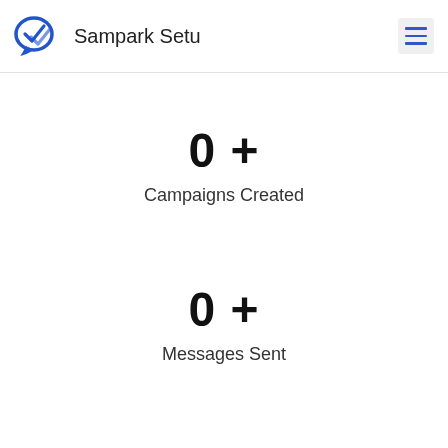Sampark Setu
0 +
Campaigns Created
0 +
Messages Sent